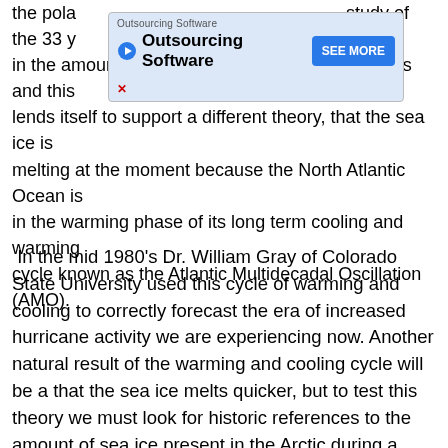the polar … study of the 33 y… … range in the amount of Arctic sea ice until the late 1990's and this lends itself to support a different theory, that the sea ice is melting at the moment because the North Atlantic Ocean is in the warming phase of its long term cooling and warming cycle known as the Atlantic Multidecadal Oscillation (AMO).
[Figure (other): Advertisement overlay for 'Outsourcing Software' with a blue 'SEE MORE' button]
In the mid 1980's Dr. William Gray of Colorado State University used this cycle of warming and cooling to correctly forecast the era of increased hurricane activity we are experiencing now. Another natural result of the warming and cooling cycle will be a that the sea ice melts quicker, but to test this theory we must look for historic references to the amount of sea ice present in the Arctic during a previous warming phase in the Atlantic.